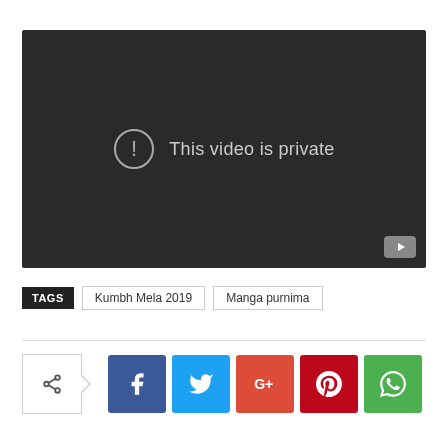[Figure (screenshot): Embedded video player showing 'This video is private' message with a warning icon on dark background, YouTube logo in bottom right corner]
TAGS   Kumbh Mela 2019   Manga purnima
[Figure (infographic): Social sharing buttons row: share icon button with arrow, Facebook (f), Twitter (bird), Google+ (G+), Pinterest (P), WhatsApp (phone icon)]